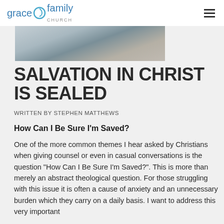grace family CHURCH
[Figure (photo): Outdoor landscape photo showing rocky terrain, partially cropped at the top]
SALVATION IN CHRIST IS SEALED
WRITTEN BY STEPHEN MATTHEWS
How Can I Be Sure I'm Saved?
One of the more common themes I hear asked by Christians when giving counsel or even in casual conversations is the question "How Can I Be Sure I'm Saved?". This is more than merely an abstract theological question. For those struggling with this issue it is often a cause of anxiety and an unnecessary burden which they carry on a daily basis. I want to address this very important